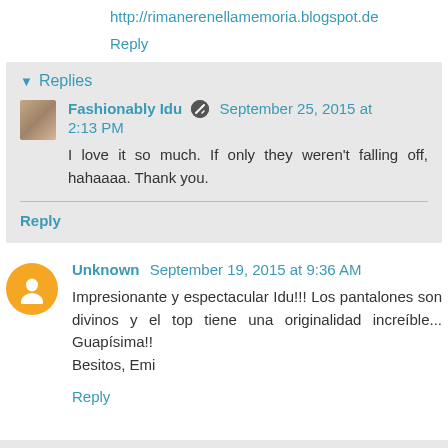http://rimanerenellamemoria.blogspot.de
Reply
▼ Replies
Fashionably Idu  September 25, 2015 at 2:13 PM
I love it so much. If only they weren't falling off, hahaaaa. Thank you.
Reply
Unknown  September 19, 2015 at 9:36 AM
Impresionante y espectacular Idu!!! Los pantalones son divinos y el top tiene una originalidad increíble... Guapísima!!
Besitos, Emi
Reply